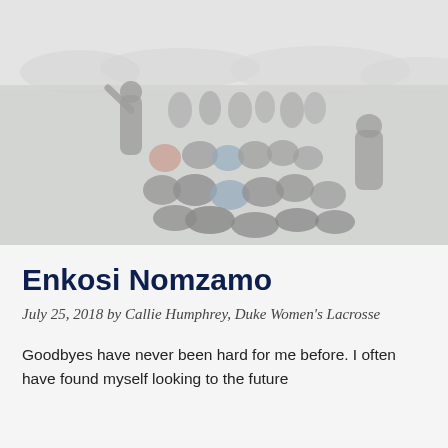[Figure (photo): A group of lacrosse players gathered in a huddle or circle on a sports field, viewed from above. The photo is washed out and overexposed with a hazy, light-gray tone. Mountains and open field visible in background.]
Enkosi Nomzamo
July 25, 2018 by Callie Humphrey, Duke Women's Lacrosse
Goodbyes have never been hard for me before. I often have found myself looking to the future with anticipation...